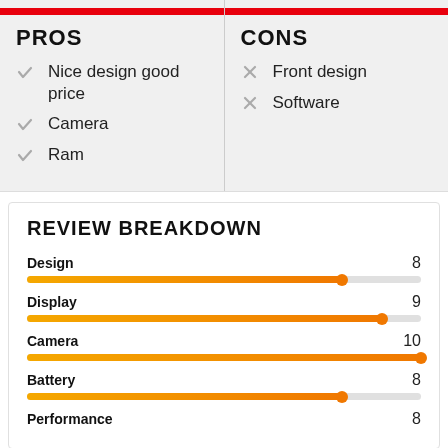PROS
CONS
Nice design good price
Camera
Ram
Front design
Software
REVIEW BREAKDOWN
[Figure (bar-chart): Review Breakdown]